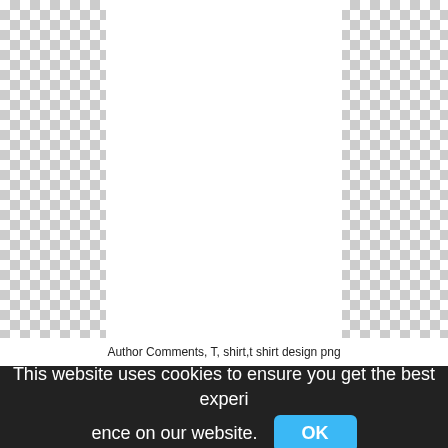[Figure (other): Transparent/blank image area shown as a checkerboard pattern with a white document region in the center]
Author Comments, T, shirt,t shirt design png
This website uses cookies to ensure you get the best experience on our website.